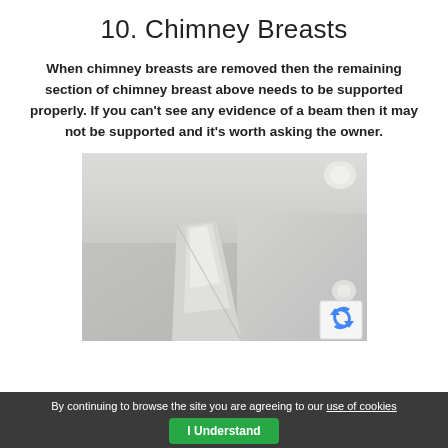10. Chimney Breasts
When chimney breasts are removed then the remaining section of chimney breast above needs to be supported properly.  If you can't see any evidence of a beam then it may not be supported and it's worth asking the owner.
[Figure (photo): Interior photo showing a ceiling and wall junction where a chimney breast has been removed, with a diagonal plaster seam visible and recessed lighting fixtures in the corner.]
By continuing to browse the site you are agreeing to our use of cookies
I Understand